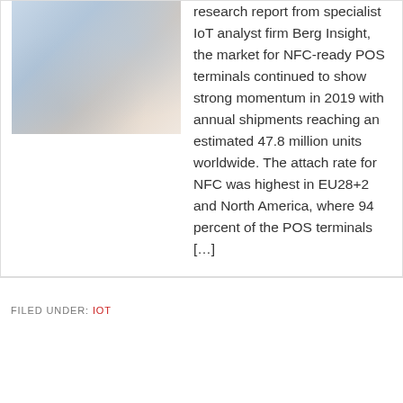[Figure (photo): Person wearing a smartwatch making a contactless payment at a POS terminal]
research report from specialist IoT analyst firm Berg Insight, the market for NFC-ready POS terminals continued to show strong momentum in 2019 with annual shipments reaching an estimated 47.8 million units worldwide. The attach rate for NFC was highest in EU28+2 and North America, where 94 percent of the POS terminals […]
FILED UNDER: IOT